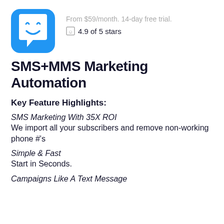[Figure (logo): Blue rounded square app icon with a white smiley face chat bubble logo]
From $59/month. 14-day free trial.
⊙ 4.9 of 5 stars
SMS+MMS Marketing Automation
Key Feature Highlights:
SMS Marketing With 35X ROI
We import all your subscribers and remove non-working phone #'s
Simple & Fast
Start in Seconds.
Campaigns Like A Text Message